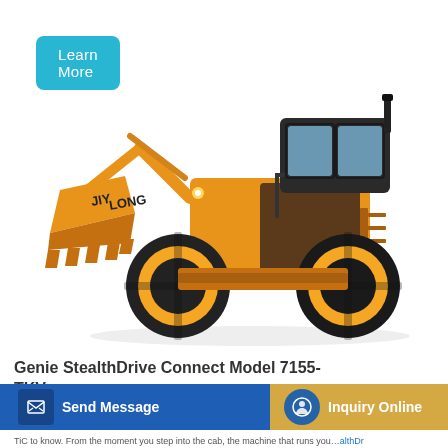Learn More
[Figure (photo): Yellow JIYLONG wheel loader / front-end loader on white background, side profile view showing large bucket, articulated arm, cab, and four large black tires with yellow rims.]
Genie StealthDrive Connect Model 7155-TKV Smartphone
Send Message
Inquiry Online
TiC to know. From the moment you step into the cab, the machine that runs you.